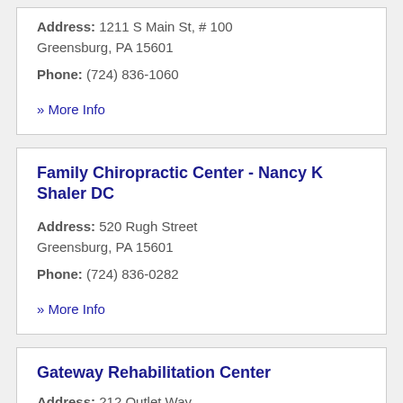Address: 1211 S Main St, # 100
Greensburg, PA 15601
Phone: (724) 836-1060
» More Info
Family Chiropractic Center - Nancy K Shaler DC
Address: 520 Rugh Street
Greensburg, PA 15601
Phone: (724) 836-0282
» More Info
Gateway Rehabilitation Center
Address: 212 Outlet Way